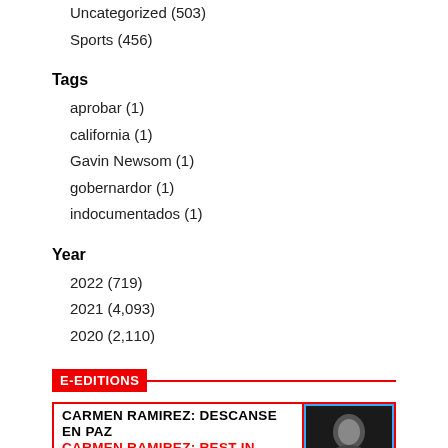Uncategorized (503)
Sports (456)
Tags
aprobar (1)
california (1)
Gavin Newsom (1)
gobernardor (1)
indocumentados (1)
Year
2022 (719)
2021 (4,093)
2020 (2,110)
E-EDITIONS
[Figure (other): E-Edition card showing 'CARMEN RAMIREZ: DESCANSE EN PAZ' in black and 'CARMEN RAMIREZ: REST IN PEACE' in red, with a dark photo of a person on the right.]